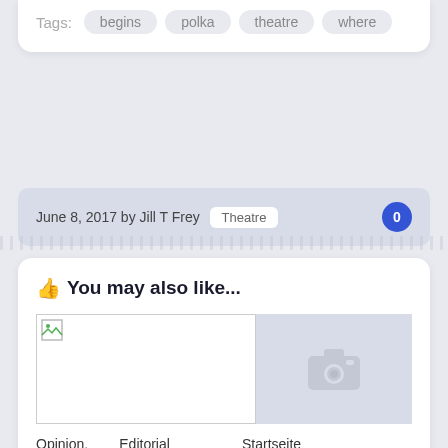Tags: begins polka theatre where
June 8, 2017 by Jill T Frey  Theatre  0
You may also like...
[Figure (photo): Left: broken image placeholder. Right: grey camera placeholder image.]
Opinion, Editorial Comment, Columns, Letters
Startseite